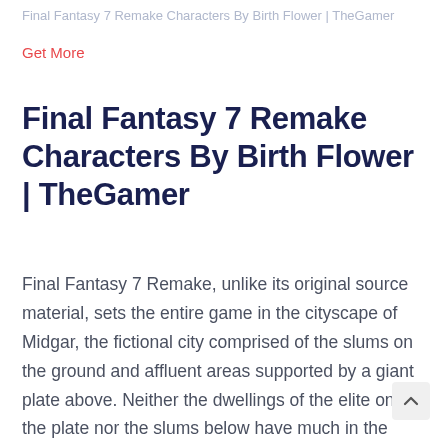Final Fantasy 7 Remake Characters By Birth Flower | TheGamer
Get More
Final Fantasy 7 Remake Characters By Birth Flower | TheGamer
Final Fantasy 7 Remake, unlike its original source material, sets the entire game in the cityscape of Midgar, the fictional city comprised of the slums on the ground and affluent areas supported by a giant plate above. Neither the dwellings of the elite on the plate nor the slums below have much in the way of flora. But plants and flowers play a key ro… as a token that represents one of the